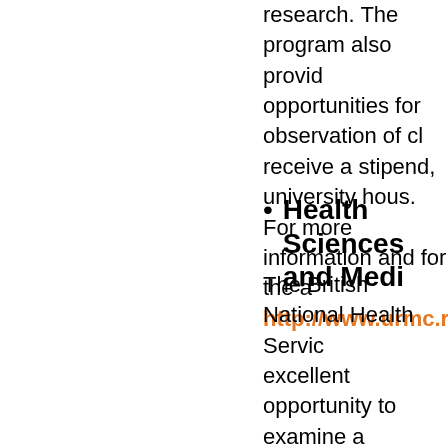research. The program also provid opportunities for observation of cl receive a stipend, university hous. For more information and for the a
http://www.urmc.rochester.edu/
Health Sciences and Medi
The British National Health Servic excellent opportunity to examine a An international internship presen practical possibilities, challenges, opportunities in London they migh the United States. Medical Resea in research laboratories or teachin associated with the University of l respiratory diseases and molecula as well as in departments of cher biochemistry, physiology, microbio programs, students take two asso internship. They carry four credits corresponding 16 credits) appear the summer programs, students e (no coursework). The University o an analytical internship journal tha faculty and